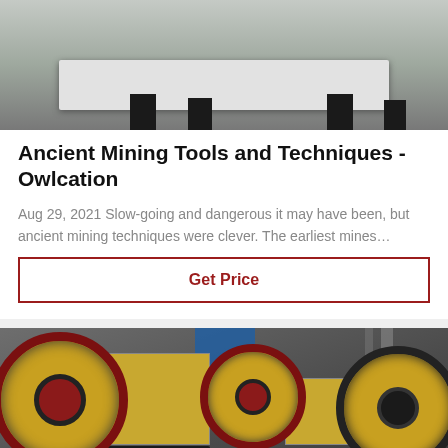[Figure (photo): Photo of a white industrial machine (possibly a vibrating table or press) with black legs on a concrete floor, viewed from above at an angle.]
Ancient Mining Tools and Techniques - Owlcation
Aug 29, 2021 Slow-going and dangerous it may have been, but ancient mining techniques were clever. The earliest mines…
Get Price
[Figure (photo): Photo of jaw crusher industrial mining equipment with large red and beige flywheels in a factory setting with Chinese signage in the background.]